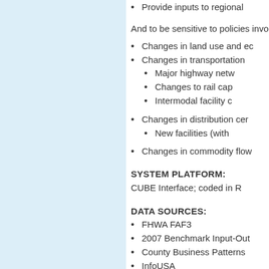Provide inputs to regional
And to be sensitive to policies invo
Changes in land use and ec
Changes in transportation
Major highway netw
Changes to rail cap
Intermodal facility c
Changes in distribution cer
New facilities (with
Changes in commodity flow
SYSTEM PLATFORM:
CUBE Interface; coded in R
DATA SOURCES:
FHWA FAF3
2007 Benchmark Input-Out
County Business Patterns
InfoUSA
Quarterly Census of Emplo
Longitudinal Employer-Ho